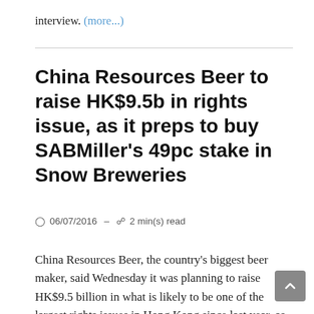interview. (more...)
China Resources Beer to raise HK$9.5b in rights issue, as it preps to buy SABMiller's 49pc stake in Snow Breweries
06/07/2016 – 2 min(s) read
China Resources Beer, the country's biggest beer maker, said Wednesday it was planning to raise HK$9.5 billion in what is likely to be one of the largest rights issues in Hong Kong since last year, as it prepares to buy a 49 per cent stake in China Resources Snow Breweries, currently